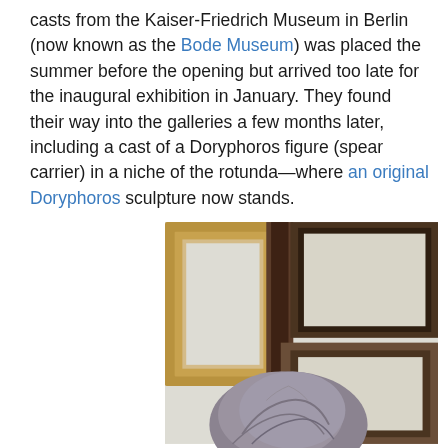casts from the Kaiser-Friedrich Museum in Berlin (now known as the Bode Museum) was placed the summer before the opening but arrived too late for the inaugural exhibition in January. They found their way into the galleries a few months later, including a cast of a Doryphoros figure (spear carrier) in a niche of the rotunda—where an original Doryphoros sculpture now stands.
[Figure (photo): A photograph showing wooden picture frames leaning against a light-colored wall, with a draped gray fabric-covered object (possibly a sculpture) partially visible in the lower foreground.]